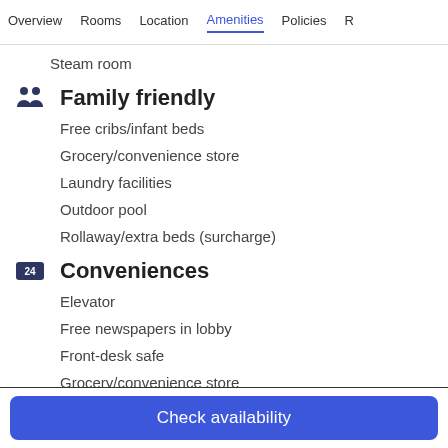Overview  Rooms  Location  Amenities  Policies  R
Steam room
Family friendly
Free cribs/infant beds
Grocery/convenience store
Laundry facilities
Outdoor pool
Rollaway/extra beds (surcharge)
Conveniences
Elevator
Free newspapers in lobby
Front-desk safe
Grocery/convenience store
Check availability